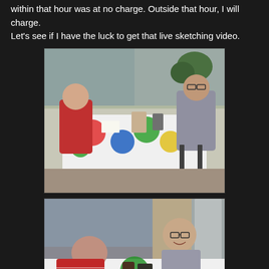within that hour was at no charge. Outside that hour, I will charge.
Let's see if I have the luck to get that live sketching video.
[Figure (photo): Two men sitting across a table covered with a colorful polka-dot tablecloth. One man in a red striped shirt on the left is drawing/writing. An older man in a light shirt sits on the right. Camera timestamp shows '2007 3:38'.]
[Figure (photo): Close-up of two men at the same colorful polka-dot tablecloth table. A young man in a red striped shirt leans over paper drawing on the left. A man with glasses smiles on the right side.]